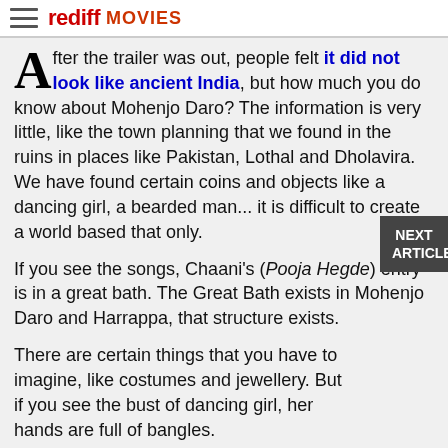rediff MOVIES
After the trailer was out, people felt it did not look like ancient India, but how much you do know about Mohenjo Daro? The information is very little, like the town planning that we found in the ruins in places like Pakistan, Lothal and Dholavira. We have found certain coins and objects like a dancing girl, a bearded man... it is difficult to create a world based that only.
If you see the songs, Chaani's (Pooja Hegde) entry is in a great bath. The Great Bath exists in Mohenjo Daro and Harrappa, that structure exists.
There are certain things that you have to imagine, like costumes and jewellery. But if you see the bust of dancing girl, her hands are full of bangles.
Some are saying that people did not wear clothes at that time. But I don't agree with that. The bust of the bearded man has a floral printed robe on his body, which means there were clothes. We have to imagine beyond a point and create a world. Ashu has added his vision.